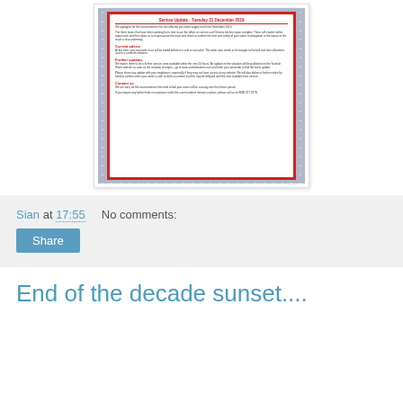[Figure (photo): A photograph of a printed water service update notice dated Tuesday 31 December 2019, with a red border on a white sheet. The notice contains sections: Current advice, Further updates, Contact us. It is resting on a grey polka-dot surface.]
Sian at 17:55    No comments:
Share
End of the decade sunset....